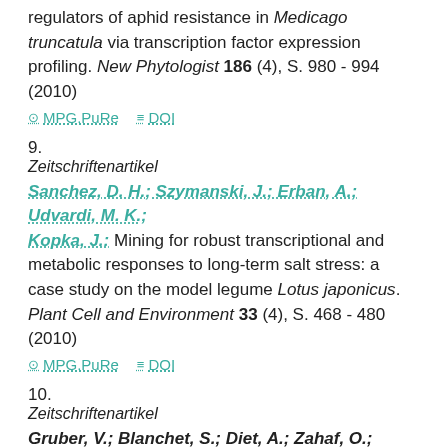regulators of aphid resistance in Medicago truncatula via transcription factor expression profiling. New Phytologist 186 (4), S. 980 - 994 (2010)
MPG.PuRe   DOI
9.
Zeitschriftenartikel
Sanchez, D. H.; Szymanski, J.; Erban, A.; Udvardi, M. K.; Kopka, J.: Mining for robust transcriptional and metabolic responses to long-term salt stress: a case study on the model legume Lotus japonicus. Plant Cell and Environment 33 (4), S. 468 - 480 (2010)
MPG.PuRe   DOI
10.
Zeitschriftenartikel
Gruber, V.; Blanchet, S.; Diet, A.; Zahaf, O.; Boualem, A.;